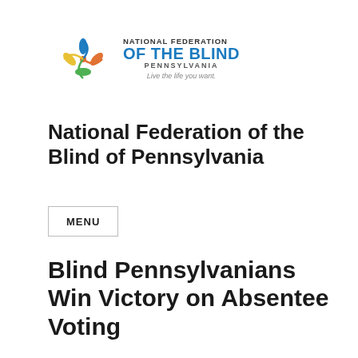[Figure (logo): National Federation of the Blind of Pennsylvania logo with decorative flower/swirl graphic and tagline 'Live the life you want.']
National Federation of the Blind of Pennsylvania
MENU
Blind Pennsylvanians Win Victory on Absentee Voting